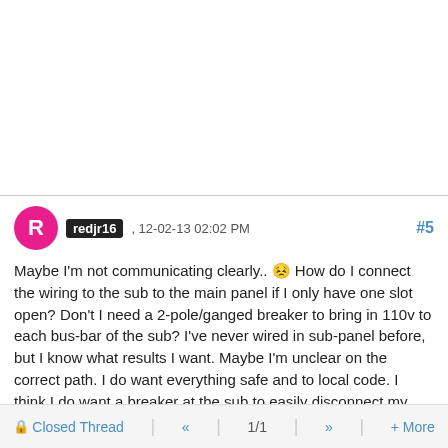(blank top section)
redjr16 , 12-02-13 02:02 PM   #5
Maybe I'm not communicating clearly.. 😕 How do I connect the wiring to the sub to the main panel if I only have one slot open? Don't I need a 2-pole/ganged breaker to bring in 110v to each bus-bar of the sub? I've never wired in sub-panel before, but I know what results I want. Maybe I'm unclear on the correct path. I do want everything safe and to local code. I think I do want a breaker at the sub to easily disconnect my
🔒Closed Thread  «  1/1  »  + More